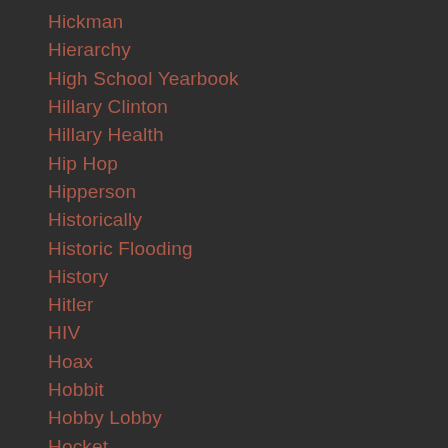Hickman
Hierarchy
High School Yearbook
Hillary Clinton
Hillary Health
Hip Hop
Hipperson
Historically
Historic Flooding
History
Hitler
HIV
Hoax
Hobbit
Hobby Lobby
Hocket
Hockey
Hog Log
Hollywood
Holocaust Centers